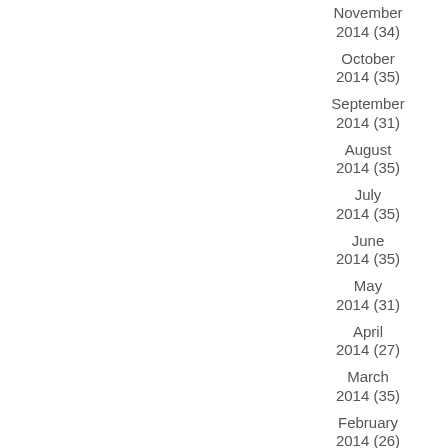November 2014 (34)
October 2014 (35)
September 2014 (31)
August 2014 (35)
July 2014 (35)
June 2014 (35)
May 2014 (31)
April 2014 (27)
March 2014 (35)
February 2014 (26)
January 2014 (43)
December 2013 (24)
November 2013 (20)